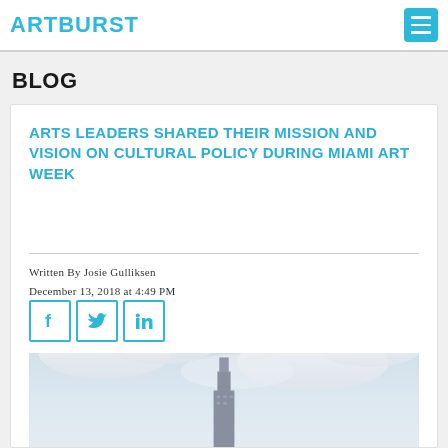ARTBURST
BLOG
ARTS LEADERS SHARED THEIR MISSION AND VISION ON CULTURAL POLICY DURING MIAMI ART WEEK
Written By Josie Gulliksen
December 13, 2018 at 4:49 PM
[Figure (infographic): Social sharing icons for Facebook, Twitter, and LinkedIn in teal bordered squares]
[Figure (photo): Photograph of a city skyline with cloudy sky, featuring a tall building against a light blue and white sky]